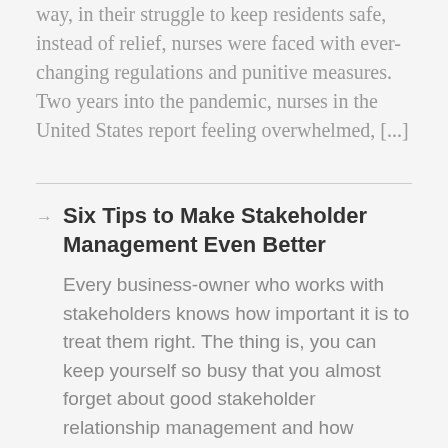way, in their struggle to keep residents safe, instead of relief, nurses were faced with ever-changing regulations and punitive measures.  Two years into the pandemic, nurses in the United States report feeling overwhelmed, [...]
Six Tips to Make Stakeholder Management Even Better
Every business-owner who works with stakeholders knows how important it is to treat them right. The thing is, you can keep yourself so busy that you almost forget about good stakeholder relationship management and how important it is to your organization. This is why it's good to know ahead